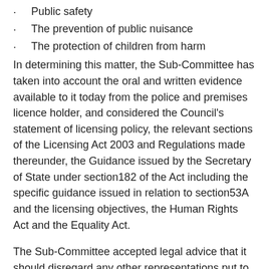Public safety
The prevention of public nuisance
The protection of children from harm
In determining this matter, the Sub-Committee has taken into account the oral and written evidence available to it today from the police and premises licence holder, and considered the Council's statement of licensing policy, the relevant sections of the Licensing Act 2003 and Regulations made thereunder, the Guidance issued by the Secretary of State under section182 of the Act including the specific guidance issued in relation to section53A and the licensing objectives, the Human Rights Act and the Equality Act.
The Sub-Committee accepted legal advice that it should disregard any other representations put to it from any other parties, such representations can be considered in due course at the following hearing...